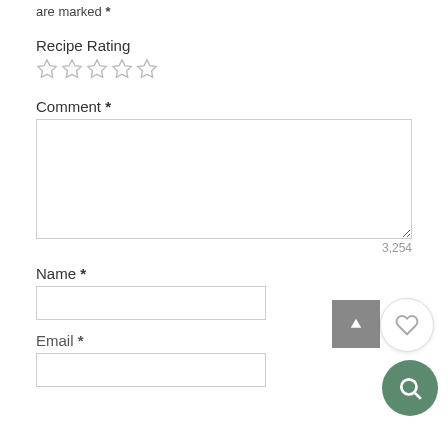are marked *
Recipe Rating
[Figure (other): Five empty star rating icons in a row]
Comment *
[Figure (other): Comment textarea input box, resizable, with character count 3,254]
3,254
Name *
[Figure (other): Name text input field]
[Figure (other): Up arrow button (scroll to top), heart/favourite button, and search button floating UI elements]
Email *
[Figure (other): Email text input field]